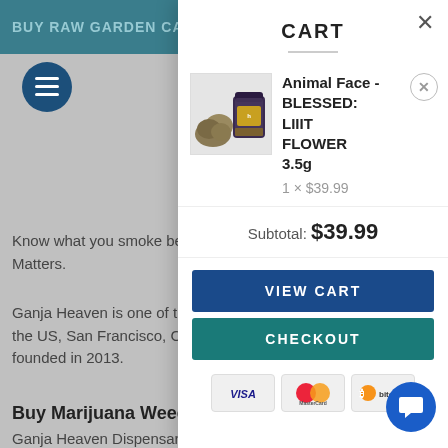BUY RAW GARDEN CAR...
[Figure (screenshot): Background webpage with teal header, hamburger menu, and grey body text about Ganja Heaven Dispensary]
Know what you smoke be... Matters.
Ganja Heaven is one of th... the US, San Francisco, CA... founded in 2013.
Buy Marijuana Weed...
Ganja Heaven Dispensar... products. Giving it rise ab... The best place to Buy Ma... In addition, We work in p... information and product... HiGhTimes, CannaHealth
CART
Animal Face - BLESSED: LIIIT FLOWER 3.5g
1 × $39.99
Subtotal: $39.99
VIEW CART
CHECKOUT